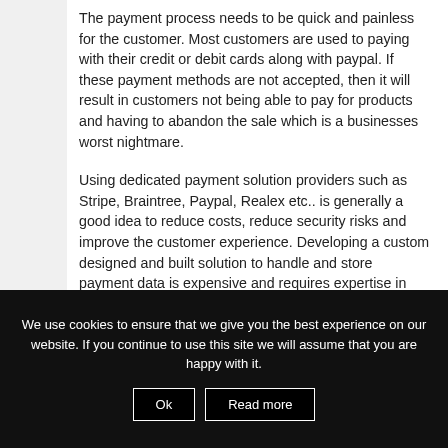The payment process needs to be quick and painless for the customer. Most customers are used to paying with their credit or debit cards along with paypal. If these payment methods are not accepted, then it will result in customers not being able to pay for products and having to abandon the sale which is a businesses worst nightmare.
Using dedicated payment solution providers such as Stripe, Braintree, Paypal, Realex etc.. is generally a good idea to reduce costs, reduce security risks and improve the customer experience. Developing a custom designed and built solution to handle and store payment data is expensive and requires expertise in both security and...
We use cookies to ensure that we give you the best experience on our website. If you continue to use this site we will assume that you are happy with it.